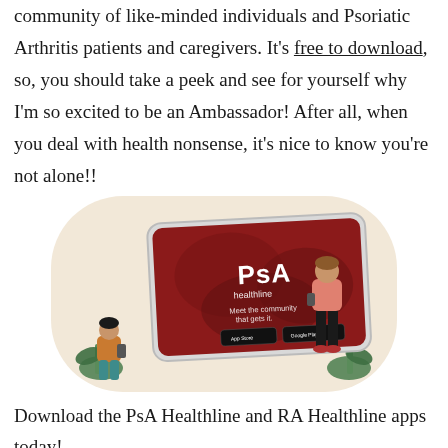community of like-minded individuals and Psoriatic Arthritis patients and caregivers. It's free to download, so, you should take a peek and see for yourself why I'm so excited to be an Ambassador! After all, when you deal with health nonsense, it's nice to know you're not alone!!
[Figure (illustration): Illustration of a smartphone showing the PsA Healthline app with the text 'PsA healthline - Meet the community that gets it.' App Store and Google Play download buttons visible. Two illustrated people stand/sit around the phone on a beige rounded-rectangle background.]
Download the PsA Healthline and RA Healthline apps today!